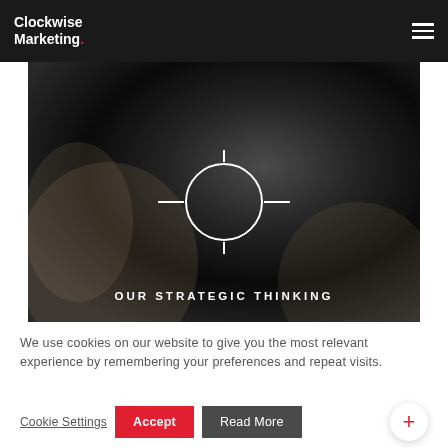Clockwise Marketing.
[Figure (photo): Dark hero image of hands with a crosshair/target icon overlay and text OUR STRATEGIC THINKING]
OUR STRATEGIC THINKING
We use cookies on our website to give you the most relevant experience by remembering your preferences and repeat visits.
Cookie Settings  Accept  Read More